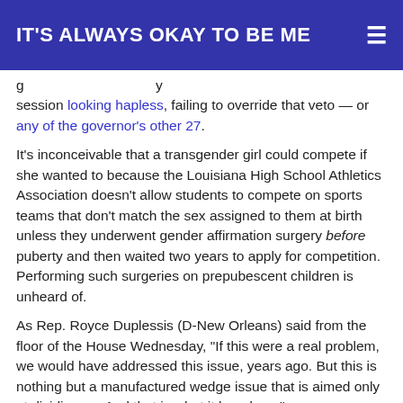IT'S ALWAYS OKAY TO BE ME
session looking hapless, failing to override that veto — or any of the governor's other 27.
It's inconceivable that a transgender girl could compete if she wanted to because the Louisiana High School Athletics Association doesn't allow students to compete on sports teams that don't match the sex assigned to them at birth unless they underwent gender affirmation surgery before puberty and then waited two years to apply for competition. Performing such surgeries on prepubescent children is unheard of.
As Rep. Royce Duplessis (D-New Orleans) said from the floor of the House Wednesday, "If this were a real problem, we would have addressed this issue, years ago. But this is nothing but a manufactured wedge issue that is aimed only at dividing us. And that is what it has done."
It isn't the only manufactured issue that the state's Republicans have been describing as an existential threat. The other issues include critical race theory — which they appear to have just heard of — the apparent faultiness of our election apparatus, and the idea